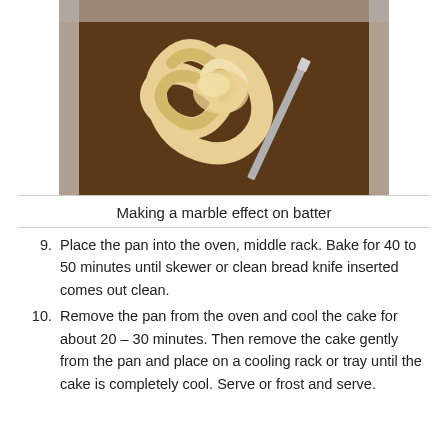[Figure (photo): A loaf pan with swirled chocolate and vanilla batter showing a marble effect, with a spatula or knife inserted to create the swirl pattern.]
Making a marble effect on batter
Place the pan into the oven, middle rack. Bake for 40 to 50 minutes until skewer or clean bread knife inserted comes out clean.
Remove the pan from the oven and cool the cake for about 20 – 30 minutes. Then remove the cake gently from the pan and place on a cooling rack or tray until the cake is completely cool. Serve or frost and serve.